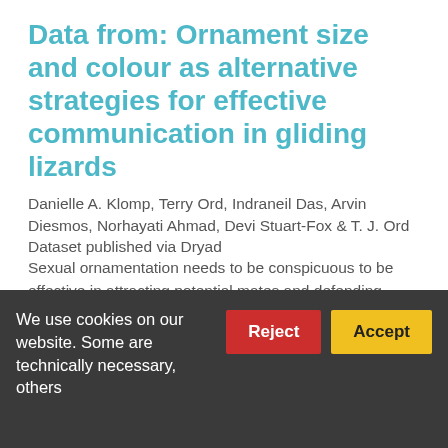Data from: Ornament size and colour as alternative strategies for effective communication in gliding lizards
Danielle A. Klomp, Terry Ord, Indraneil Das, Arvin Diesmos, Norhayati Ahmad, Devi Stuart-Fox & T. J. Ord
Dataset published via Dryad
Sexual ornamentation needs to be conspicuous to be effective in attracting potential mates and defending territories and indeed, a multitude of ways exists to achieve this. Two principal mechanisms for increasing conspicuousness are to increase the ornament's colour or brightness contrast against the background and to increase the size of the ornament. We assessed the
We use cookies on our website. Some are technically necessary, others